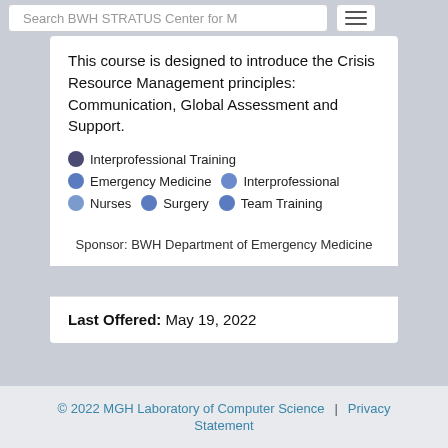Search BWH STRATUS Center for M
This course is designed to introduce the Crisis Resource Management principles: Communication, Global Assessment and Support.
Interprofessional Training
Emergency Medicine
Interprofessional
Nurses
Surgery
Team Training
Sponsor: BWH Department of Emergency Medicine
Last Offered: May 19, 2022
© 2022 MGH Laboratory of Computer Science  |  Privacy Statement